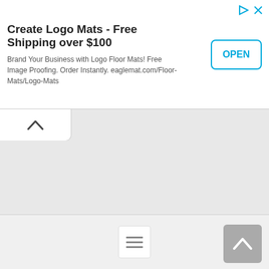[Figure (screenshot): Mobile advertisement banner for Eagle Mat logo floor mats with title, description text, and OPEN button, along with ad attribution icons (play triangle and X) in top right corner.]
Create Logo Mats - Free Shipping over $100
Brand Your Business with Logo Floor Mats! Free Image Proofing. Order Instantly. eaglemat.com/Floor-Mats/Logo-Mats
[Figure (screenshot): Mobile browser UI screenshot showing a collapsed tab with chevron-up arrow, a large empty gray content area, a bottom navigation bar with hamburger/menu icon button, and a scroll-to-top button (chevron-up on gray square background) in the bottom right corner.]